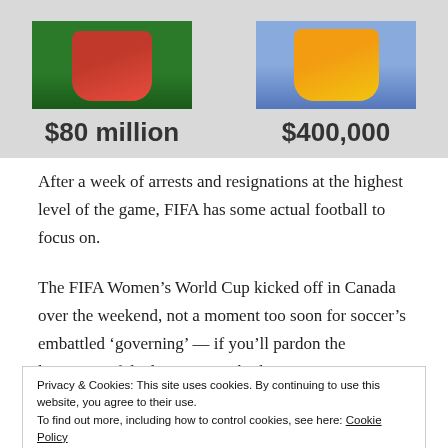[Figure (infographic): Two-column infographic showing soccer player photos. Left column shows a red-jersey player with label '$80 million', right column shows a yellow-jersey player with label '$400,000'. Background is light grey.]
After a week of arrests and resignations at the highest level of the game, FIFA has some actual football to focus on.
The FIFA Women's World Cup kicked off in Canada over the weekend, not a moment too soon for soccer's embattled 'governing' — if you'll pardon the looseness of the language — body.
Privacy & Cookies: This site uses cookies. By continuing to use this website, you agree to their use.
To find out more, including how to control cookies, see here: Cookie Policy
Close and accept
thanks to unprecedented TV coverage, the women's